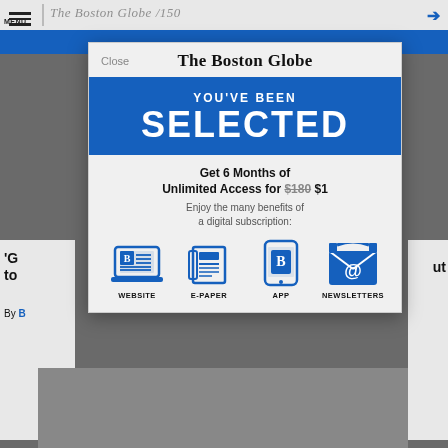The Boston Globe
[Figure (screenshot): Boston Globe subscription modal overlay on mobile website. Blue header 'YOU'VE BEEN SELECTED', offer 'Get 6 Months of Unlimited Access for $180 $1', benefit icons: WEBSITE, E-PAPER, APP, NEWSLETTERS]
Close
The Boston Globe
YOU'VE BEEN
SELECTED
Get 6 Months of Unlimited Access for $180 $1
Enjoy the many benefits of a digital subscription:
WEBSITE
E-PAPER
APP
NEWSLETTERS